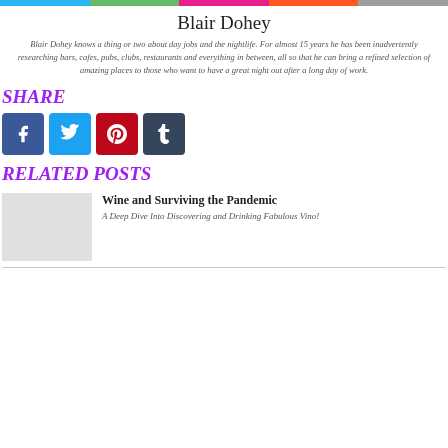[Figure (other): Colored top bar strips: cyan, green, magenta, orange, gray]
Blair Dohey
Blair Dohey knows a thing or two about day jobs and the nightlife. For almost 15 years he has been inadvertently researching bars, cafes, pubs, clubs, restaurants and everything in between, all so that he can bring a refined selection of amazing places to those who want to have a great night out after a long day of work.
SHARE
[Figure (other): Social share buttons: Facebook (blue), Twitter (cyan), Pinterest (red), Tumblr (dark blue)]
RELATED POSTS
[Figure (other): Thumbnail image placeholder for related post]
Wine and Surviving the Pandemic
A Deep Dive Into Discovering and Drinking Fabulous Vino!